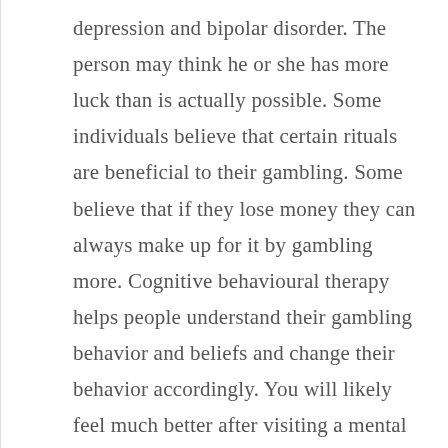depression and bipolar disorder. The person may think he or she has more luck than is actually possible. Some individuals believe that certain rituals are beneficial to their gambling. Some believe that if they lose money they can always make up for it by gambling more. Cognitive behavioural therapy helps people understand their gambling behavior and beliefs and change their behavior accordingly. You will likely feel much better after visiting a mental health clinic.
Despite the risks associated with gambling, most people are inclined to indulge at some point in their lives. Although the activity can be enjoyable and can boost a person's self-esteem, it is also potentially destructive. Without professional help, it can lead to financial disaster. Some people run up huge debts or